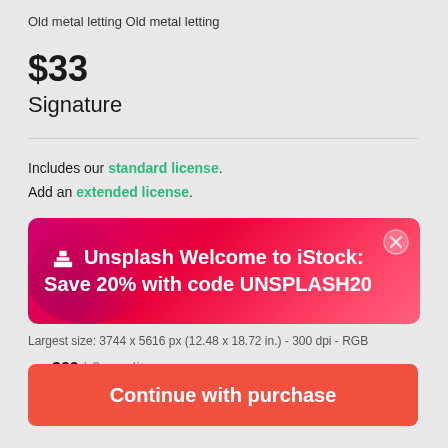Old metal letting Old metal letting
$33
Signature
Includes our standard license.
Add an extended license.
[Figure (infographic): Unsplash promotional banner on iStock: 'Unsplash Welcome to iStock: Save 20% with code UNSPLASH20' with close button, pink/magenta gradient background]
Largest size: 3744 x 5616 px (12.48 x 18.72 in.) - 300 dpi - RGB
$33 | 3 credits
Continue with purchase